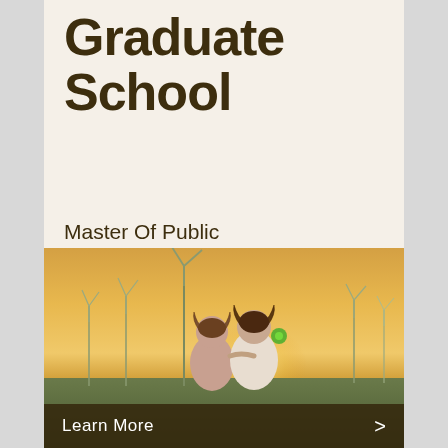Graduate School
Master Of Public Administration (MPA) In Sustainable Solutions
[Figure (photo): Two children with braided pigtails viewed from behind, looking out over a wind farm at sunset/golden hour. Wind turbines visible in background against warm glowing sky.]
Learn More